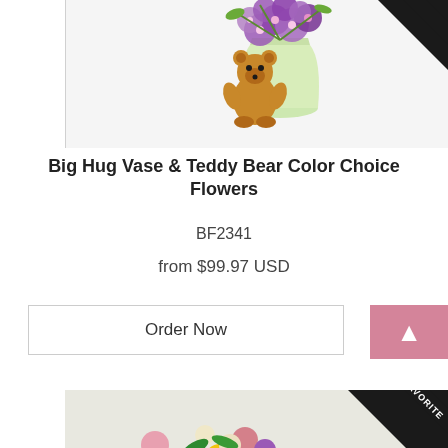[Figure (photo): Product photo of a flower arrangement with purple flowers in a light green vase, with a brown teddy bear sitting beside it. A dark ribbon corner is visible at top right.]
Big Hug Vase & Teddy Bear Color Choice Flowers
BF2341
from $99.97 USD
Order Now
[Figure (photo): Product photo of a colorful mixed flower bouquet with yellow sunflowers, pink carnations, white alstroemeria, and purple flowers. A black 'FAVORITE' ribbon badge is visible at top right corner.]